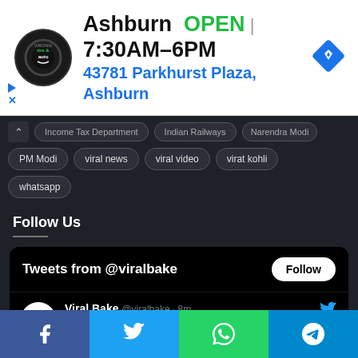[Figure (screenshot): Ad banner for Virginia Tire & Auto in Ashburn showing logo, OPEN status, hours 7:30AM-6PM, address 43781 Parkhurst Plaza Ashburn, and navigation icon]
Income Tax Department   Indian Railways   Narendra Modi
PM Modi   viral news   viral video   virat kohli
whatsapp
Follow Us
[Figure (screenshot): Twitter widget showing Tweets from @viralbake with Follow button, and a tweet by Viral Bake @viralbake 8m: NPS vs PPF: Comparing Investment]
[Figure (screenshot): Social share bar with Facebook, Twitter, WhatsApp, and Telegram buttons]